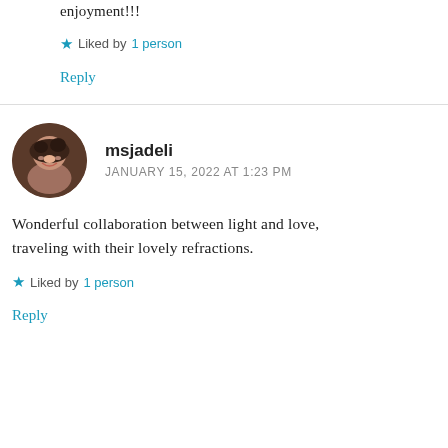I read that several times for sheer enjoyment!!!
★ Liked by 1 person
Reply
msjadeli
JANUARY 15, 2022 AT 1:23 PM
Wonderful collaboration between light and love, traveling with their lovely refractions.
★ Liked by 1 person
Reply